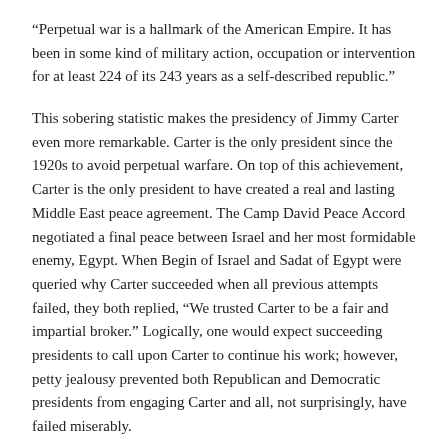“Perpetual war is a hallmark of the American Empire. It has been in some kind of military action, occupation or intervention for at least 224 of its 243 years as a self-described republic.”
This sobering statistic makes the presidency of Jimmy Carter even more remarkable. Carter is the only president since the 1920s to avoid perpetual warfare. On top of this achievement, Carter is the only president to have created a real and lasting Middle East peace agreement. The Camp David Peace Accord negotiated a final peace between Israel and her most formidable enemy, Egypt. When Begin of Israel and Sadat of Egypt were queried why Carter succeeded when all previous attempts failed, they both replied, “We trusted Carter to be a fair and impartial broker.” Logically, one would expect succeeding presidents to call upon Carter to continue his work; however, petty jealousy prevented both Republican and Democratic presidents from engaging Carter and all, not surprisingly, have failed miserably.
Yes, we are a moderately clever ape, yet entirely lacking in wisdom.